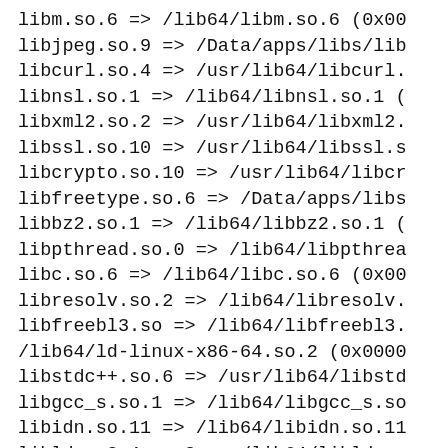libm.so.6 => /lib64/libm.so.6 (0x00
libjpeg.so.9 => /Data/apps/libs/lib
libcurl.so.4 => /usr/lib64/libcurl.
libnsl.so.1 => /lib64/libnsl.so.1 (0
libxml2.so.2 => /usr/lib64/libxml2.
libssl.so.10 => /usr/lib64/libssl.s
libcrypto.so.10 => /usr/lib64/libcr
libfreetype.so.6 => /Data/apps/libs
libbz2.so.1 => /lib64/libbz2.so.1 (0
libpthread.so.0 => /lib64/libpthrea
libc.so.6 => /lib64/libc.so.6 (0x00
libresolv.so.2 => /lib64/libresolv.
libfreebl3.so => /lib64/libfreebl3.
/lib64/ld-linux-x86-64.so.2 (0x0000
libstdc++.so.6 => /usr/lib64/libstd
libgcc_s.so.1 => /lib64/libgcc_s.so
libidn.so.11 => /lib64/libidn.so.11
libldap-2.4.so.2 => /lib64/libldap-
libgssapi_krb5.so.2 => /lib64/libgs